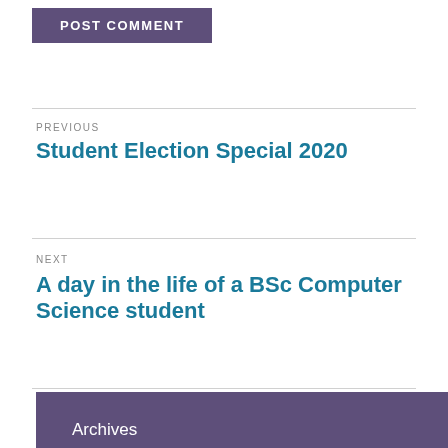POST COMMENT
PREVIOUS
Student Election Special 2020
NEXT
A day in the life of a BSc Computer Science student
Archives